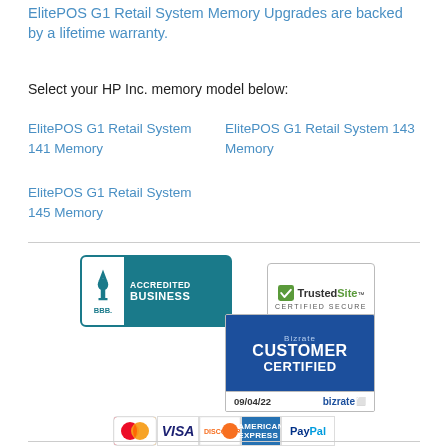ElitePOS G1 Retail System Memory Upgrades are backed by a lifetime warranty.
Select your HP Inc. memory model below:
ElitePOS G1 Retail System 141 Memory
ElitePOS G1 Retail System 143 Memory
ElitePOS G1 Retail System 145 Memory
[Figure (logo): BBB Accredited Business badge with teal background]
[Figure (logo): TrustedSite Certified Secure badge]
[Figure (logo): Bizrate Customer Certified badge dated 09/04/22]
[Figure (logo): Payment method icons: MasterCard, Visa, Discover, American Express, PayPal]